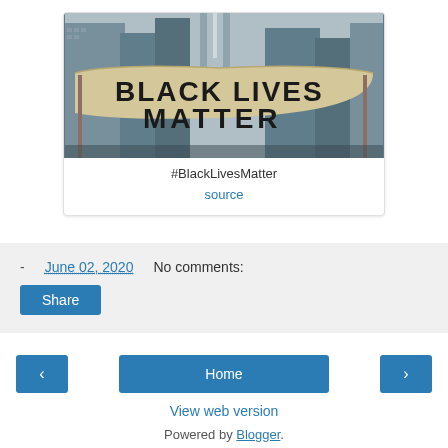[Figure (photo): Photo of a large Black Lives Matter banner being held up in an urban setting with city buildings and a tower visible in the background.]
#BlackLivesMatter
source
- June 02, 2020   No comments:
Share
‹   Home   ›
View web version
Powered by Blogger.